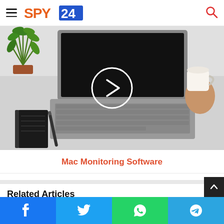SPY24 — navigation header with hamburger menu and search icon
[Figure (screenshot): Top-down view of a MacBook laptop on a white desk with a potted plant top-left, a notebook and pen bottom-left, and a hand holding a cup of coffee top-right. A white play-button circle is overlaid at center.]
Mac Monitoring Software
Related Articles
[Figure (photo): Partial thumbnail of laptop/desk image for a related article, left column]
[Figure (photo): Partial thumbnail of laptop/desk image for a related article, right column]